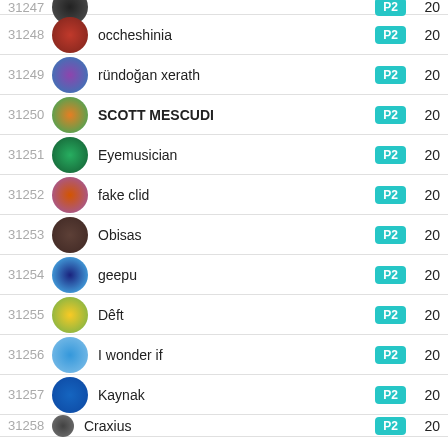31247 | [avatar] | (truncated) | P2 | 20
31248 | occheshinia | P2 | 20
31249 | ründoğan xerath | P2 | 20
31250 | SCOTT MESCUDI | P2 | 20
31251 | Eyemusician | P2 | 20
31252 | fake clid | P2 | 20
31253 | Obisas | P2 | 20
31254 | geepu | P2 | 20
31255 | Dêft | P2 | 20
31256 | I wonder if | P2 | 20
31257 | Kaynak | P2 | 20
31258 | Craxius | P2 | 20